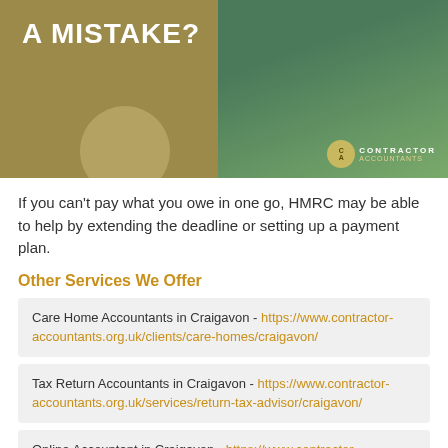[Figure (photo): Hero image with text 'A MISTAKE?' on a gold/tan background with a person at a desk on the right side, and a Contractor Accountants logo in the bottom right.]
If you can't pay what you owe in one go, HMRC may be able to help by extending the deadline or setting up a payment plan.
Other Services We Offer
Care Home Accountants in Craigavon - https://www.contractor-accountants.org.uk/clients/care-homes/craigavon/
Tax Return Accountants in Craigavon - https://www.contractor-accountants.org.uk/services/return-tax-advisor/craigavon/
Online Accountant in Craigavon - https://www.contractor-accountants.org.uk/online/craigavon/